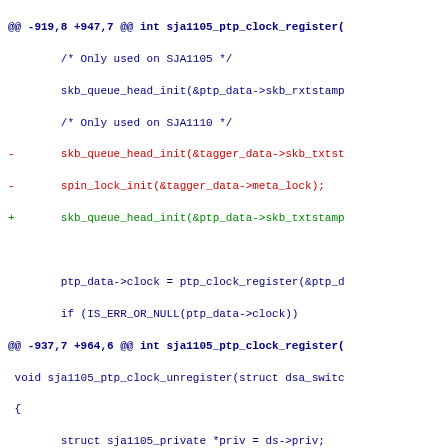Code diff showing changes to sja1105 PTP clock register/unregister functions, replacing tagger_data references with ptp_data references.